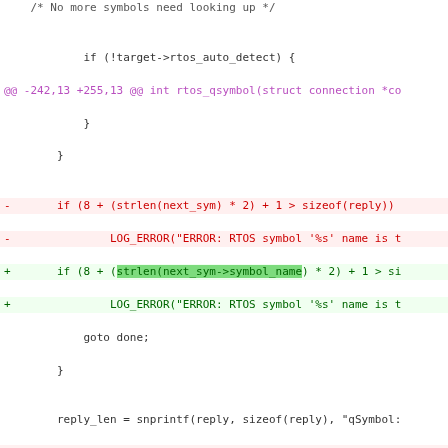[Figure (screenshot): Git diff output showing code changes in C source files, with removed lines in red, added lines in green, hunk headers in purple, and diff file headers in a beige/gray background. Shows changes to rtos_qsymbol function and rtos.h header file.]